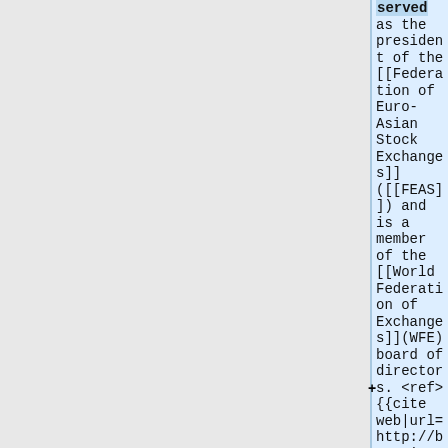served as the president of the [[Federation of Euro-Asian Stock Exchanges]]([[FEAS]]) and is a member of the [[World Federation of Exchanges]](WFE) board of directors.<ref>{{cite web|url=http://borsaistanbul.com/en/